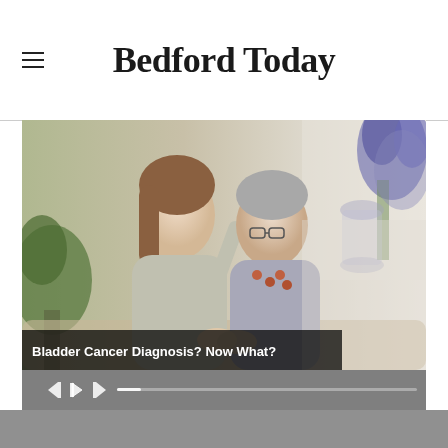Bedford Today
[Figure (photo): Video player showing a young woman and an older woman sitting together on a couch, smiling and holding hands. Background shows plants, flowers in a vase. Video controls bar visible at bottom with progress bar and playback buttons. Caption overlay reads 'Bladder Cancer Diagnosis? Now What?']
Bladder Cancer Diagnosis? Now What?